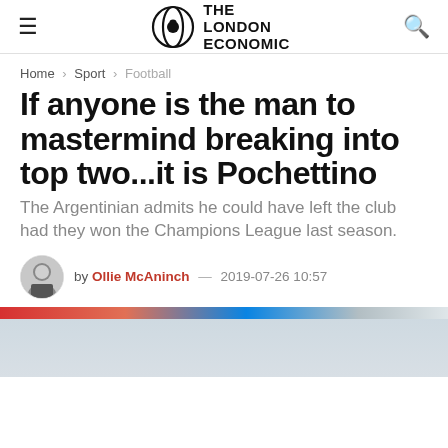THE LONDON ECONOMIC
Home > Sport > Football
If anyone is the man to mastermind breaking into top two...it is Pochettino
The Argentinian admits he could have left the club had they won the Champions League last season.
by Ollie McAninch — 2019-07-26 10:57
[Figure (photo): Partial photo of a football scene with red and blue colors, blurred lower section]